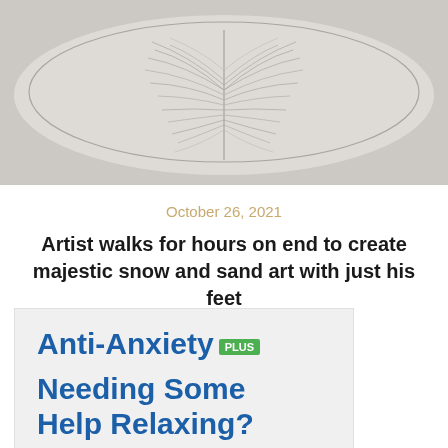[Figure (illustration): A large oval/leaf-shaped sand or snow art piece with intricate radiating line patterns resembling a fern or feather, set on a light background. The artwork is created by walking patterns.]
October 26, 2021
Artist walks for hours on end to create majestic snow and sand art with just his feet
[Figure (infographic): Advertisement box with light gray background. Reads: Anti-Anxiety PLUS (with PLUS in a green badge). Needing Some Help Relaxing? Try Natural Support]